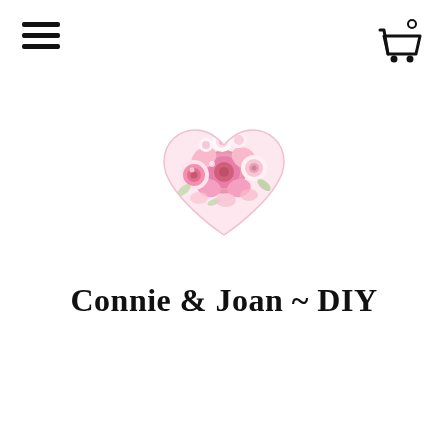[Figure (logo): Hamburger menu icon (three horizontal lines) in top-left corner]
[Figure (logo): Shopping cart icon with a small circle (badge) in top-right corner]
[Figure (illustration): Heart-shaped logo filled with pink and white roses/flowers]
Connie & Joan ~ DIY